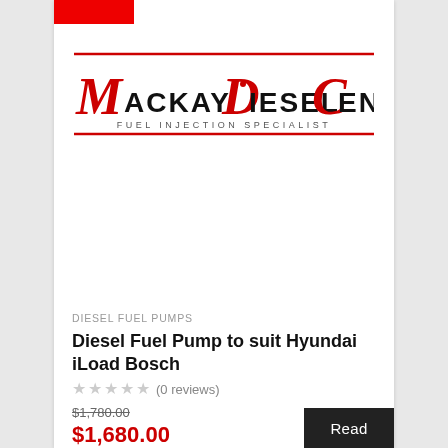[Figure (logo): Mackay Diesel Centre - Fuel Injection Specialist logo with red decorative lines and italic script lettering]
DIESEL FUEL PUMPS
Diesel Fuel Pump to suit Hyundai iLoad Bosch
★★★★★ (0 reviews)
$1,780.00 (strikethrough original price)
$1,680.00 (sale price)
Read